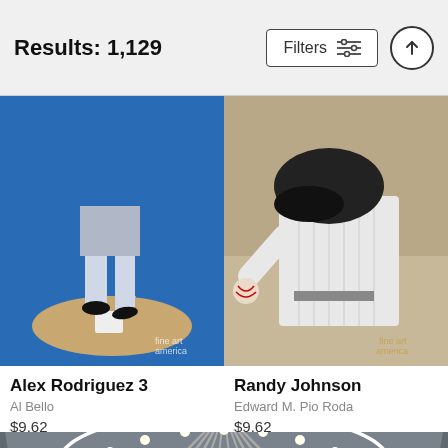Results: 1,129
[Figure (screenshot): Alex Rodriguez 3 baseball player running, Fine Art America watermark]
[Figure (screenshot): Randy Johnson baseball pitcher in pinstripe uniform, Fine Art America watermark]
Alex Rodriguez 3
Al Bello
$9.62
Randy Johnson
Edward M. Pio Roda
$9.62
[Figure (photo): Indoor baseball stadium with domed roof (Tropicana Field), overhead view showing the distinctive circular dome structure with lighting, Tropicana signage visible]